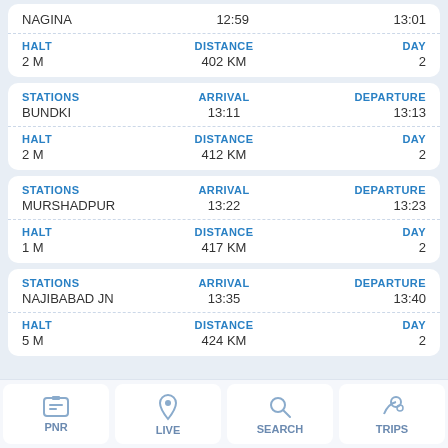| STATIONS | ARRIVAL | DEPARTURE |
| --- | --- | --- |
| NAGINA | 12:59 | 13:01 |
| HALT | DISTANCE | DAY |
| --- | --- | --- |
| 2 M | 402 KM | 2 |
| STATIONS | ARRIVAL | DEPARTURE |
| --- | --- | --- |
| BUNDKI | 13:11 | 13:13 |
| HALT | DISTANCE | DAY |
| --- | --- | --- |
| 2 M | 412 KM | 2 |
| STATIONS | ARRIVAL | DEPARTURE |
| --- | --- | --- |
| MURSHADPUR | 13:22 | 13:23 |
| HALT | DISTANCE | DAY |
| --- | --- | --- |
| 1 M | 417 KM | 2 |
| STATIONS | ARRIVAL | DEPARTURE |
| --- | --- | --- |
| NAJIBABAD JN | 13:35 | 13:40 |
| HALT | DISTANCE | DAY |
| --- | --- | --- |
| 5 M | 424 KM | 2 |
PNR | LIVE | SEARCH | TRIPS